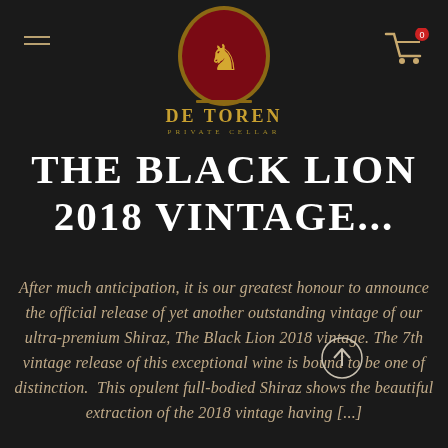[Figure (logo): De Toren Private Cellar logo — oval gold-bordered emblem with red background and golden lion rampant above the text 'DE TOREN' in gold serif capitals and 'PRIVATE CELLAR' in smaller spaced capitals below]
THE BLACK LION 2018 VINTAGE...
After much anticipation, it is our greatest honour to announce the official release of yet another outstanding vintage of our ultra-premium Shiraz, The Black Lion 2018 vintage. The 7th vintage release of this exceptional wine is bound to be one of distinction. This opulent full-bodied Shiraz shows the beautiful extraction of the 2018 vintage having [...]